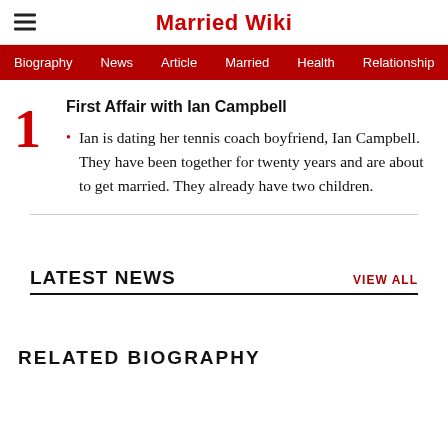Married Wiki
Biography  News  Article  Married  Health  Relationship  Ga
First Affair with Ian Campbell
Ian is dating her tennis coach boyfriend, Ian Campbell. They have been together for twenty years and are about to get married. They already have two children.
LATEST NEWS
VIEW ALL
RELATED BIOGRAPHY